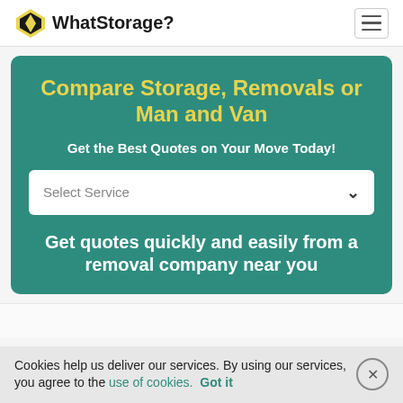WhatStorage?
Compare Storage, Removals or Man and Van
Get the Best Quotes on Your Move Today!
Select Service
Get quotes quickly and easily from a removal company near you
Cookies help us deliver our services. By using our services, you agree to the use of cookies. Got it